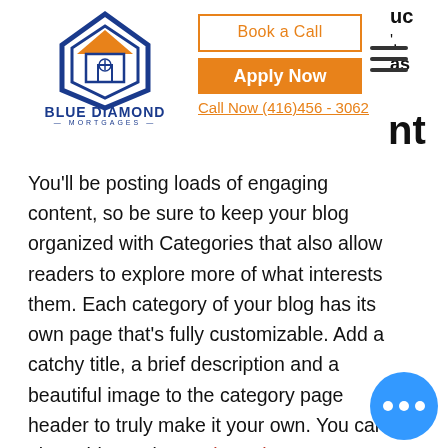[Figure (logo): Blue Diamond Mortgages logo with house/diamond icon in blue and orange]
Book a Call | Apply Now | Call Now (416)456 - 3062
You'll be posting loads of engaging content, so be sure to keep your blog organized with Categories that also allow readers to explore more of what interests them. Each category of your blog has its own page that's fully customizable. Add a catchy title, a brief description and a beautiful image to the category page header to truly make it your own. You can also add tags (#vacation #dream #summer) through your posts to reach more people, and